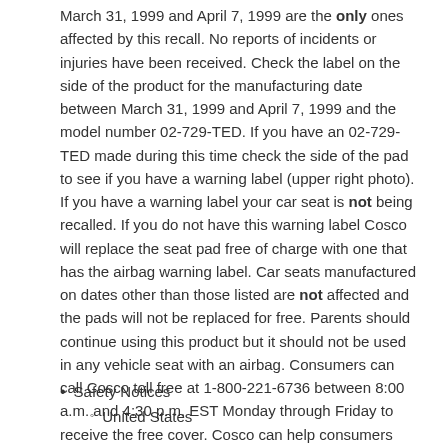March 31, 1999 and April 7, 1999 are the only ones affected by this recall. No reports of incidents or injuries have been received. Check the label on the side of the product for the manufacturing date between March 31, 1999 and April 7, 1999 and the model number 02-729-TED. If you have an 02-729-TED made during this time check the side of the pad to see if you have a warning label (upper right photo). If you have a warning label your car seat is not being recalled. If you do not have this warning label Cosco will replace the seat pad free of charge with one that has the airbag warning label. Car seats manufactured on dates other than those listed are not affected and the pads will not be replaced for free. Parents should continue using this product but it should not be used in any vehicle seat with an airbag. Consumers can call Cosco toll free at 1-800-221-6736 between 8:00 a.m. and 4:30 p.m. EST Monday through Friday to receive the free cover. Cosco can help consumers identify whether their car seat/carrier is involved in this recall.
Safety Notices
United States